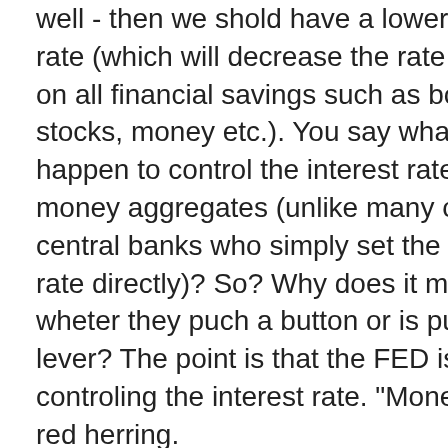well - then we shold have a lower interest rate (which will decrease the rate of return on all financial savings such as bonds, stocks, money etc.). You say what? The US happen to control the interest rate through money aggregates (unlike many other central banks who simply set the interest rate directly)? So? Why does it matter wheter they puch a button or is pulling a lever? The point is that the FED is controling the interest rate. "Money" is a red herring.
Posted by: erik | January 12, 2012 at 10:30 AM